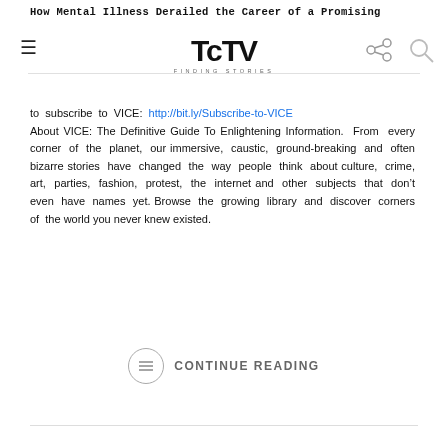How Mental Illness Derailed the Career of a Promising
[Figure (logo): TcTV Finding Stories logo with hamburger menu, share icon, and search icon]
to subscribe to VICE: http://bit.ly/Subscribe-to-VICE About VICE: The Definitive Guide To Enlightening Information. From every corner of the planet, our immersive, caustic, ground-breaking and often bizarre stories have changed the way people think about culture, crime, art, parties, fashion, protest, the internet and other subjects that don’t even have names yet. Browse the growing library and discover corners of the world you never knew existed.
CONTINUE READING